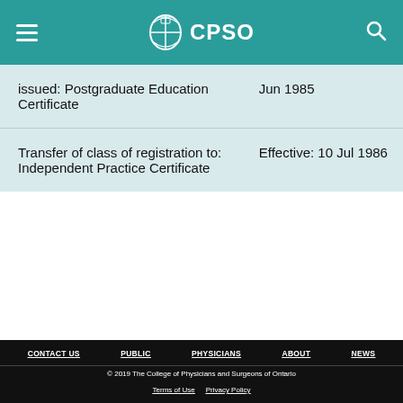CPSO
| Registration Action | Date |
| --- | --- |
| issued: Postgraduate Education Certificate | Jun 1985 |
| Transfer of class of registration to: Independent Practice Certificate | Effective: 10 Jul 1986 |
CONTACT US   PUBLIC   PHYSICIANS   ABOUT   NEWS
© 2019 The College of Physicians and Surgeons of Ontario
Terms of Use   Privacy Policy